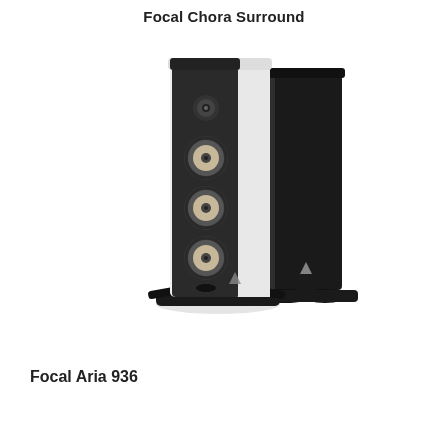Focal Chora Surround
[Figure (photo): Two Focal Aria 936 floor-standing speakers side by side. The left speaker is white/silver with four visible drivers (one tweeter and three woofers) and a front-facing port. The right speaker is shown in black from a side angle. Both speakers have black bases/feet.]
Focal Aria 936